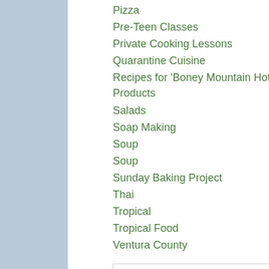Pizza
Pre-Teen Classes
Private Cooking Lessons
Quarantine Cuisine
Recipes for 'Boney Mountain Hot Sauce Products
Salads
Soap Making
Soup
Soup
Sunday Baking Project
Thai
Tropical
Tropical Food
Ventura County
[Figure (illustration): Amazon.com Shop Now & advertisement banner with orange background and white text]